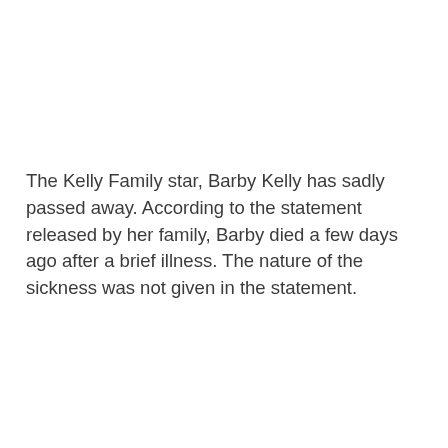The Kelly Family star, Barby Kelly has sadly passed away. According to the statement released by her family, Barby died a few days ago after a brief illness. The nature of the sickness was not given in the statement.